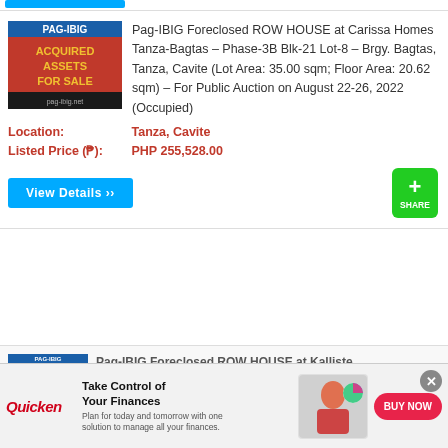[Figure (logo): Pag-IBIG Acquired Assets For Sale logo/banner — red and black background with yellow text]
Pag-IBIG Foreclosed ROW HOUSE at Carissa Homes Tanza-Bagtas – Phase-3B Blk-21 Lot-8 – Brgy. Bagtas, Tanza, Cavite (Lot Area: 35.00 sqm; Floor Area: 20.62 sqm) – For Public Auction on August 22-26, 2022 (Occupied)
Location: Tanza, Cavite
Listed Price (₱): PHP 255,528.00
View Details »»
[Figure (logo): Pag-IBIG Acquired Assets For Sale logo/banner partial, second listing]
Pag-IBIG Foreclosed ROW HOUSE at Kalliste...
[Figure (screenshot): Quicken advertisement banner at the bottom: Take Control of Your Finances. Plan for today and tomorrow with one solution to manage all your finances. BUY NOW button.]